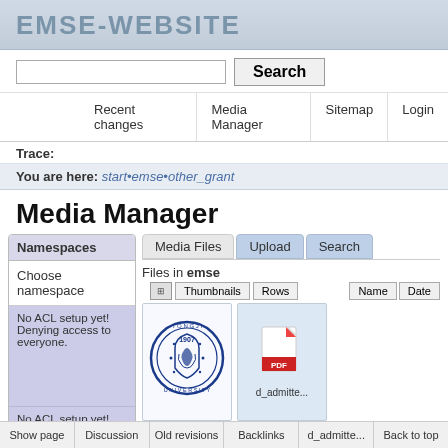EMSE-WEBSITE
Search (input field and button)
Recent changes | Media Manager | Sitemap | Login
Trace:
You are here: start•emse•other_grant
Media Manager
Namespaces
Choose namespace
No ACL setup yet! Denying access to everyone.
No ACL setup yet! Denying access to
Media Files | Upload | Search
Files in emse
Thumbnails | Rows | Name | Date
[Figure (logo): Tongji University circular logo seal, blue ink on white, showing year 1907 and university name around the border]
[Figure (other): PDF file icon, red and white]
d_admitte...
Show page | Discussion | Old revisions | Backlinks | d_admitte... | Back to top